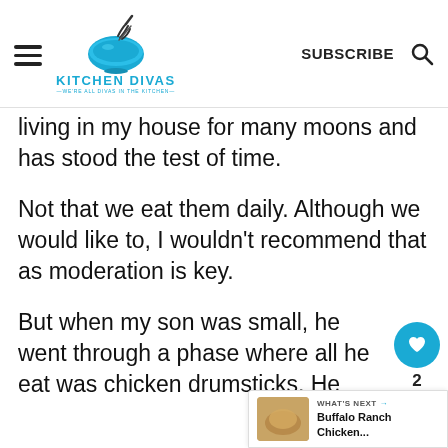Kitchen Divas — We're all divas in the kitchen — SUBSCRIBE
living in my house for many moons and has stood the test of time.
Not that we eat them daily. Although we would like to, I wouldn't recommend that as moderation is key.
But when my son was small, he went through a phase where all he eat was chicken drumsticks. He